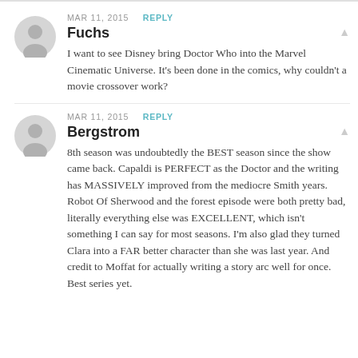MAR 11, 2015  REPLY
Fuchs
I want to see Disney bring Doctor Who into the Marvel Cinematic Universe. It's been done in the comics, why couldn't a movie crossover work?
MAR 11, 2015  REPLY
Bergstrom
8th season was undoubtedly the BEST season since the show came back. Capaldi is PERFECT as the Doctor and the writing has MASSIVELY improved from the mediocre Smith years. Robot Of Sherwood and the forest episode were both pretty bad, literally everything else was EXCELLENT, which isn't something I can say for most seasons. I'm also glad they turned Clara into a FAR better character than she was last year. And credit to Moffat for actually writing a story arc well for once. Best series yet.